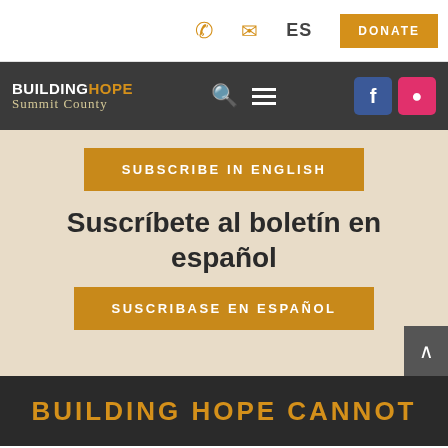Phone | Email | ES | DONATE
[Figure (logo): Building Hope Summit County logo with navigation icons and social media buttons (Facebook, Instagram)]
SUBSCRIBE IN ENGLISH
Suscríbete al boletín en español
SUSCRIBASE EN ESPAÑOL
BUILDING HOPE CANNOT